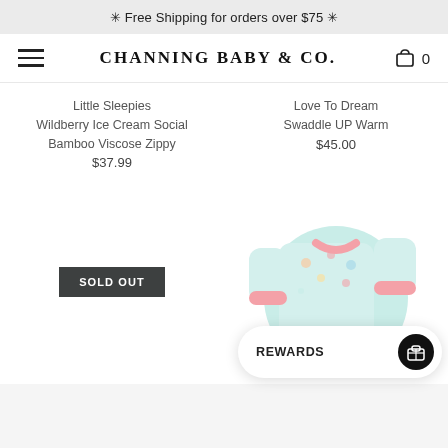✳ Free Shipping for orders over $75 ✳
CHANNING BABY & CO.
Little Sleepies
Wildberry Ice Cream Social
Bamboo Viscose Zippy
$37.99
Love To Dream
Swaddle UP Warm
$45.00
SOLD OUT
[Figure (photo): Children's pajama set with light blue background and colorful ice cream/summer print, with pink trim accents]
REWARDS